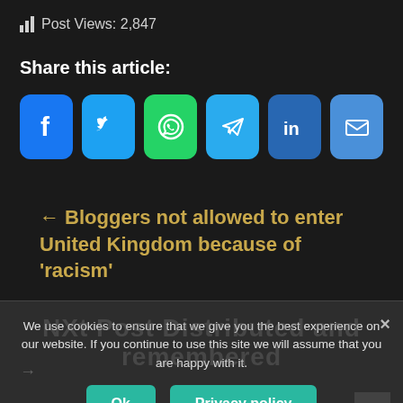Post Views: 2,847
Share this article:
[Figure (infographic): Social share buttons: Facebook, Twitter, WhatsApp, Telegram, LinkedIn, Email]
← Bloggers not allowed to enter United Kingdom because of 'racism'
We use cookies to ensure that we give you the best experience on our website. If you continue to use this site we will assume that you are happy with it.
Ok
Privacy policy